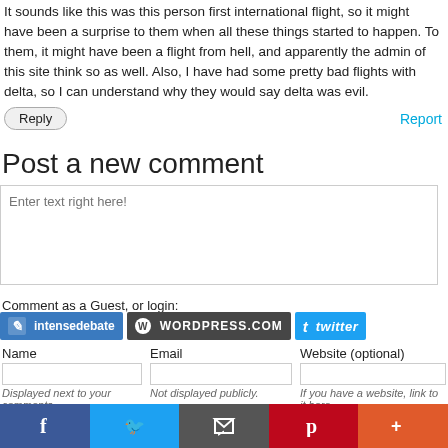It sounds like this was this person first international flight, so it might have been a surprise to them when all these things started to happen. To them, it might have been a flight from hell, and apparently the admin of this site think so as well. Also, I have had some pretty bad flights with delta, so I can understand why they would say delta was evil.
Reply | Report
Post a new comment
Enter text right here!
Comment as a Guest, or login:
[Figure (screenshot): Login buttons: IntenseDebate, WordPress.com, Twitter]
Name
Email
Website (optional)
Displayed next to your comments.
Not displayed publicly.
If you have a website, link to it here.
[Figure (screenshot): Social sharing bar: Facebook, Twitter, Email, Pinterest, More]